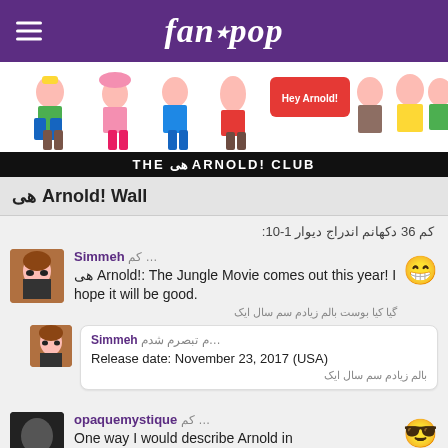fanpop
[Figure (illustration): Hey Arnold! club banner showing cartoon characters from the show]
THE هی ARNOLD! CLUB
هی Arnold! Wall
کم‌ 36 دکهانم‌ اندراج دیوار 1-10:
Simmeh کم‌ ... هی Arnold!: The Jungle Movie comes out this year! I hope it will be good. گیا کیا بوست بالم‌ زیادم‌ سم‌ سال ایک
Simmeh م‌ تبصرم‌ شدم‌... Release date: November 23, 2017 (USA) بالم‌ زیادم‌ سم‌ سال ایک
opaquemystique کم‌ ... One way I would describe Arnold in